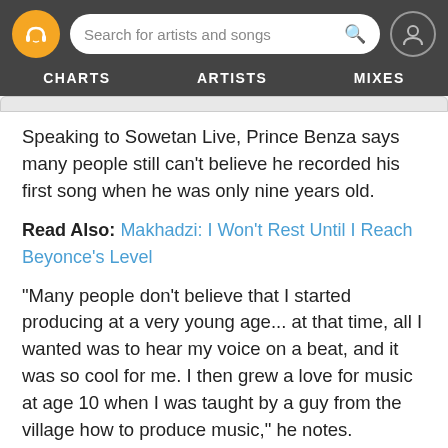Search for artists and songs | CHARTS | ARTISTS | MIXES
Speaking to Sowetan Live, Prince Benza says many people still can't believe he recorded his first song when he was only nine years old.
Read Also: Makhadzi: I Won't Rest Until I Reach Beyonce's Level
"Many people don't believe that I started producing at a very young age... at that time, all I wanted was to hear my voice on a beat, and it was so cool for me. I then grew a love for music at age 10 when I was taught by a guy from the village how to produce music," he notes.
A record deal with Open Mic Productions – the same company that launched Makhadzi, Master KG, Nomcebo Zikode, and